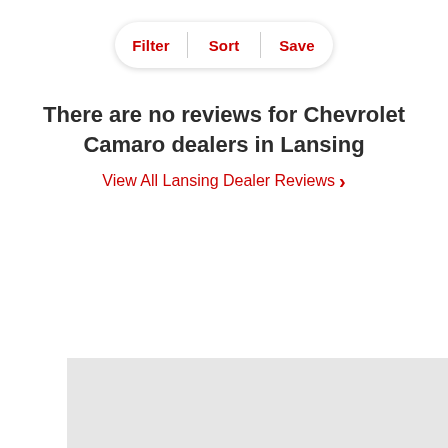[Figure (screenshot): Filter / Sort / Save toolbar with rounded pill shape and red text labels]
There are no reviews for Chevrolet Camaro dealers in Lansing
View All Lansing Dealer Reviews >